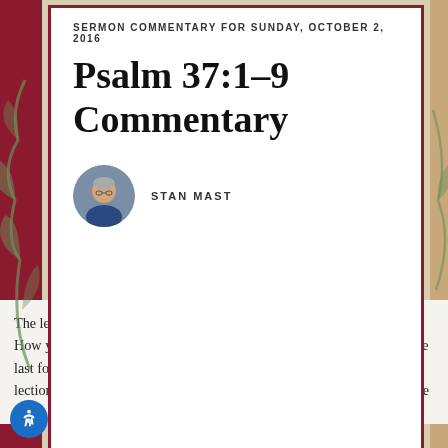SERMON COMMENTARY FOR SUNDAY, OCTOBER 2, 2016
Psalm 37:1-9 Commentary
STAN MAST
The lectionary is on a roll in these early weeks of autumn, or in a rut. How you see it will depend on whether you like being instructed. For the last four Sundays (Psalms 1, 113, 146, and part of Psalm 51) the lectionary has been focusing on Psalms that give counsel to God's people in the framework of praise.